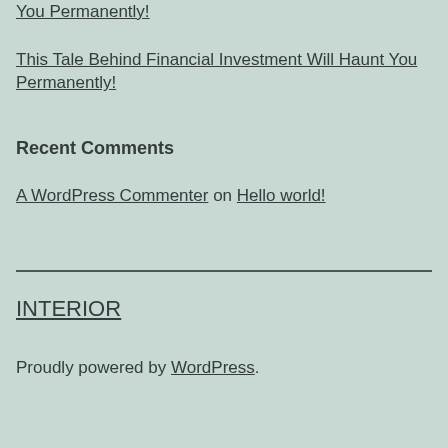You Permanently!
This Tale Behind Financial Investment Will Haunt You Permanently!
Recent Comments
A WordPress Commenter on Hello world!
INTERIOR
Proudly powered by WordPress.